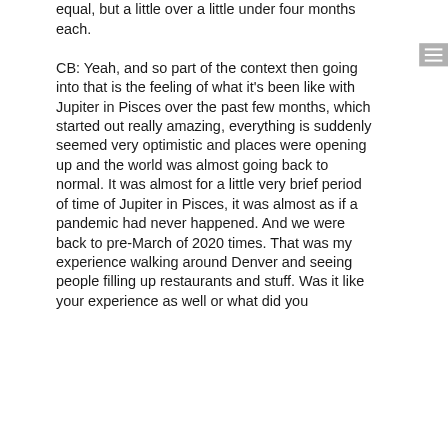equal, but a little over a little under four months each.

CB: Yeah, and so part of the context then going into that is the feeling of what it's been like with Jupiter in Pisces over the past few months, which started out really amazing, everything is suddenly seemed very optimistic and places were opening up and the world was almost going back to normal. It was almost for a little very brief period of time of Jupiter in Pisces, it was almost as if a pandemic had never happened. And we were back to pre-March of 2020 times. That was my experience walking around Denver and seeing people filling up restaurants and stuff. Was it like your experience as well or what did you